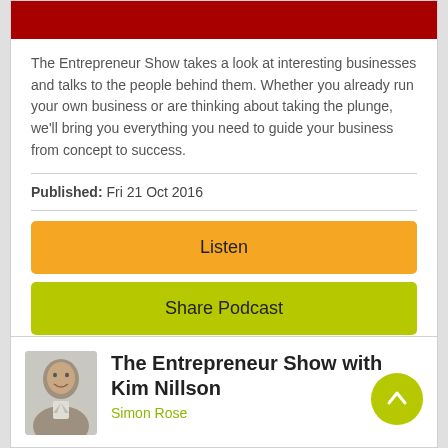[Figure (illustration): Dark red/crimson banner bar at top of card]
The Entrepreneur Show takes a look at interesting businesses and talks to the people behind them. Whether you already run your own business or are thinking about taking the plunge, we'll bring you everything you need to guide your business from concept to success.
Published: Fri 21 Oct 2016
Listen
Share Podcast
[Figure (photo): Headshot photo of a man in a suit, smiling]
The Entrepreneur Show with Kim Nillson
Simon Rose